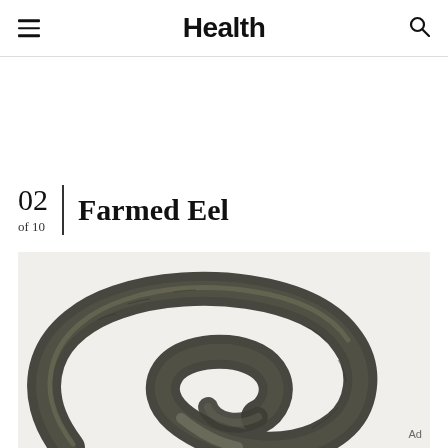Health
02 of 10 | Farmed Eel
[Figure (photo): Close-up photograph of a live farmed eel coiled against a white background, showing its dark olive-green and grey-toned skin with a shiny, smooth texture. The eel forms a loop shape visible from above.]